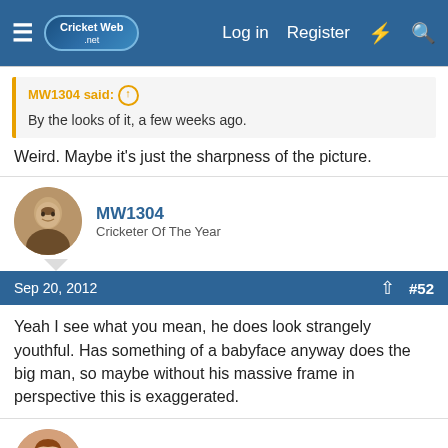CricketWeb.net — Log in | Register
MW1304 said: ↑
By the looks of it, a few weeks ago.
Weird. Maybe it's just the sharpness of the picture.
MW1304
Cricketer Of The Year
Sep 20, 2012  #52
Yeah I see what you mean, he does look strangely youthful. Has something of a babyface anyway does the big man, so maybe without his massive frame in perspective this is exaggerated.
Himannv
International Coach